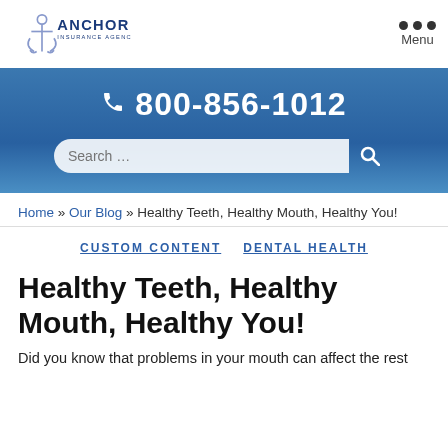[Figure (logo): Anchor Insurance Agencies logo with anchor icon and blue text]
Menu
[Figure (infographic): Blue gradient banner with phone number 800-856-1012 and search bar]
Home » Our Blog » Healthy Teeth, Healthy Mouth, Healthy You!
CUSTOM CONTENT   DENTAL HEALTH
Healthy Teeth, Healthy Mouth, Healthy You!
Did you know that problems in your mouth can affect the rest